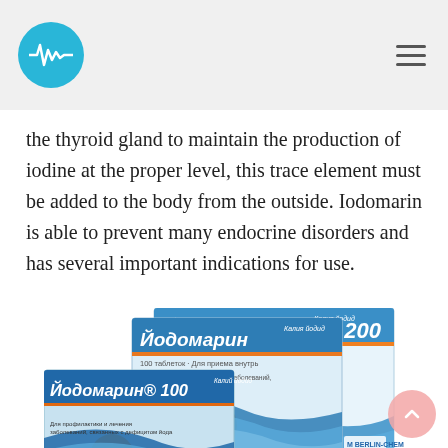the thyroid gland to maintain the production of iodine at the proper level, this trace element must be added to the body from the outside. Iodomarin is able to prevent many endocrine disorders and has several important indications for use.
[Figure (photo): Three boxes of Iodomarin medication: Йодомарин® 100, Йодомарин (100 tablets), and Йодомарин® 200 (60 tablets). Blue and white packaging with orange wave design.]
dzvranjc.org
First of all, these pills are prescribed for hypothyroidism of the thyroid gland to